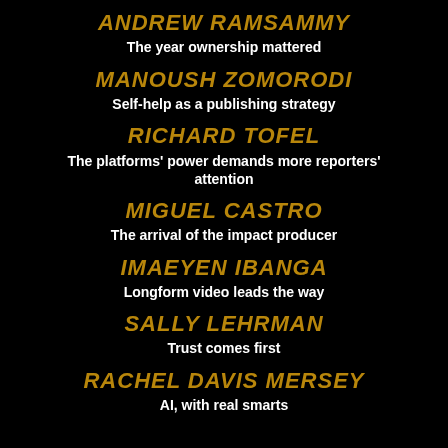ANDREW RAMSAMMY
The year ownership mattered
MANOUSH ZOMORODI
Self-help as a publishing strategy
RICHARD TOFEL
The platforms' power demands more reporters' attention
MIGUEL CASTRO
The arrival of the impact producer
IMAEYEN IBANGA
Longform video leads the way
SALLY LEHRMAN
Trust comes first
RACHEL DAVIS MERSEY
AI, with real smarts